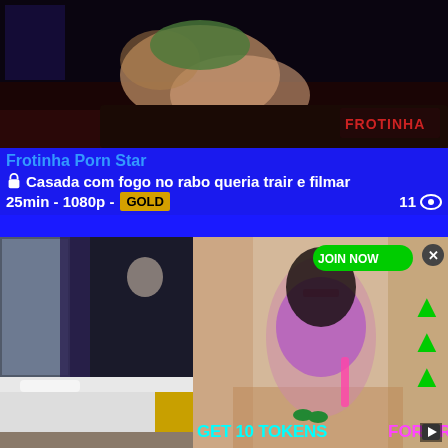[Figure (screenshot): Video thumbnail showing intimate scene on dark leather sofa with FROTINHA watermark logo in bottom right]
Frotinha Porn Star
🔒 Casada com fogo no rabo queria trair e filmar
25min - 1080p - GOLD  11 👁
[Figure (screenshot): Hotel bedroom scene thumbnail on left side]
[Figure (screenshot): Advertisement overlay featuring woman in purple lingerie with JOIN NOW button, green arrows, and GET 10 TOKENS FOR FREE text]